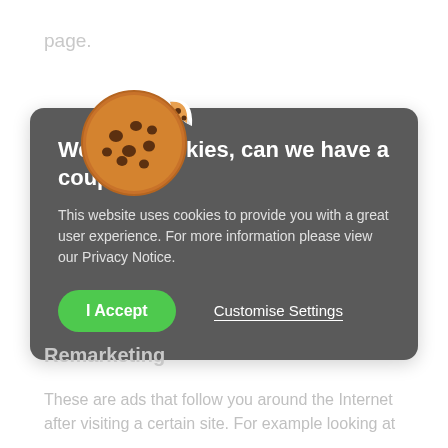page.
Bir
[Figure (illustration): Cookie emoji illustration — a round chocolate chip cookie with a bite taken out of the upper-right, revealing the inside with dots of chocolate chips.]
We love cookies, can we have a couple?
This website uses cookies to provide you with a great user experience. For more information please view our Privacy Notice.
I Accept    Customise Settings
Remarketing
These are ads that follow you around the Internet after visiting a certain site. For example looking at